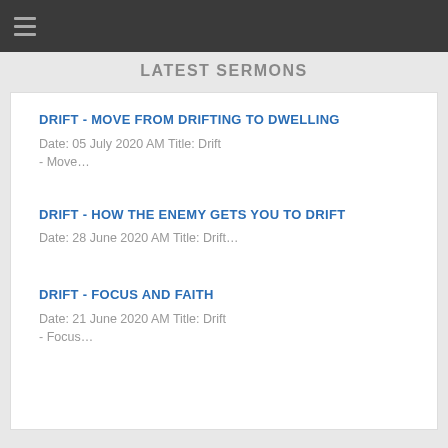LATEST SERMONS
DRIFT - MOVE FROM DRIFTING TO DWELLING
Date:  05 July 2020 AM Title: Drift - Move…
DRIFT - HOW THE ENEMY GETS YOU TO DRIFT
Date:  28 June 2020 AM Title: Drift…
DRIFT - FOCUS AND FAITH
Date:  21 June 2020 AM Title: Drift - Focus…